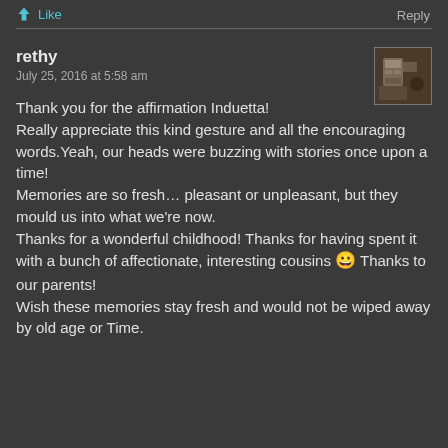Like
Reply
rethy
July 25, 2016 at 5:58 am
Thank you for the affirmation Induetta!
Really appreciate this kind gesture and all the encouraging words.Yeah, our heads were buzzing with stories once upon a time!
Memories are so fresh… pleasant or unpleasant, but they mould us into what we're now.
Thanks for a wonderful childhood! Thanks for having spent it with a bunch of affectionate, interesting cousins 😀 Thanks to our parents!
Wish these memories stay fresh and would not be wiped away by old age or Time.